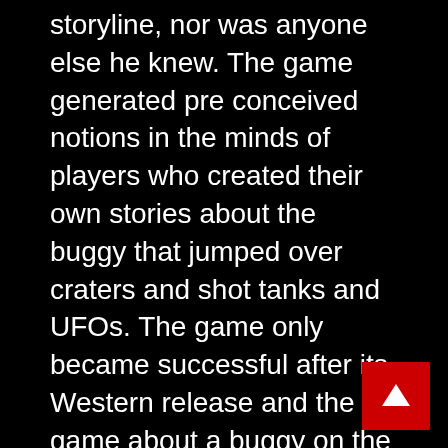storyline, nor was anyone else he knew. The game generated pre conceived notions in the minds of players who created their own stories about the buggy that jumped over craters and shot tanks and UFOs. The game only became successful after its Western release and the game about a buggy on the moon was picked up by Atari to be converted for home computers and consoles.
The ga me was rele